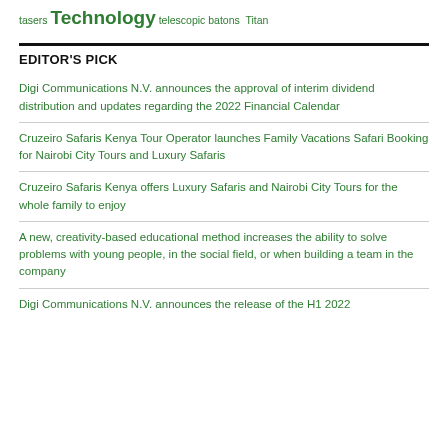tasers Technology telescopic batons Titan
EDITOR'S PICK
Digi Communications N.V. announces the approval of interim dividend distribution and updates regarding the 2022 Financial Calendar
Cruzeiro Safaris Kenya Tour Operator launches Family Vacations Safari Booking for Nairobi City Tours and Luxury Safaris
Cruzeiro Safaris Kenya offers Luxury Safaris and Nairobi City Tours for the whole family to enjoy
A new, creativity-based educational method increases the ability to solve problems with young people, in the social field, or when building a team in the company
Digi Communications N.V. announces the release of the H1 2022